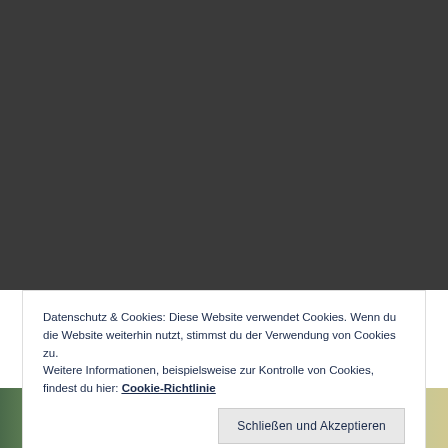[Figure (photo): Dark grey background occupying the upper portion of the page, with a partial photo strip at the bottom showing blurred human figures in an outdoor setting.]
Datenschutz & Cookies: Diese Website verwendet Cookies. Wenn du die Website weiterhin nutzt, stimmst du der Verwendung von Cookies zu.
Weitere Informationen, beispielsweise zur Kontrolle von Cookies, findest du hier: Cookie-Richtlinie
Schließen und Akzeptieren